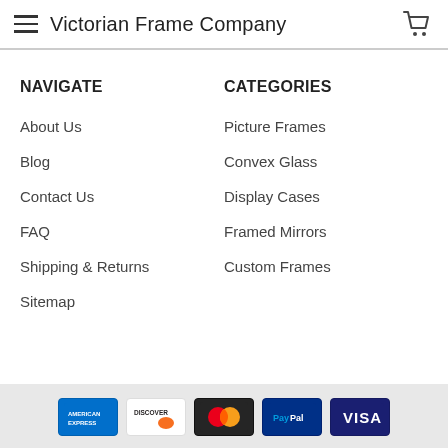Victorian Frame Company
NAVIGATE
About Us
Blog
Contact Us
FAQ
Shipping & Returns
Sitemap
CATEGORIES
Picture Frames
Convex Glass
Display Cases
Framed Mirrors
Custom Frames
American Express, Discover, Mastercard, PayPal, Visa